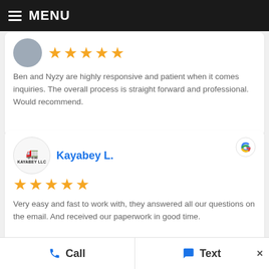MENU
Ben and Nyzy are highly responsive and patient when it comes inquiries. The overall process is straight forward and professional. Would recommend.
Kayabey L.
Very easy and fast to work with, they answered all our questions on the email. And received our paperwork in good time.
Call  Text